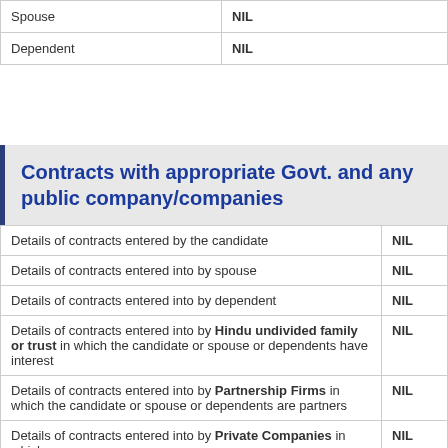|  |  |
| --- | --- |
| Spouse | NIL |
| Dependent | NIL |
Contracts with appropriate Govt. and any public company/companies
|  |  |
| --- | --- |
| Details of contracts entered by the candidate | NIL |
| Details of contracts entered into by spouse | NIL |
| Details of contracts entered into by dependent | NIL |
| Details of contracts entered into by Hindu undivided family or trust in which the candidate or spouse or dependents have interest | NIL |
| Details of contracts entered into by Partnership Firms in which the candidate or spouse or dependents are partners | NIL |
| Details of contracts entered into by Private Companies in which | NIL |